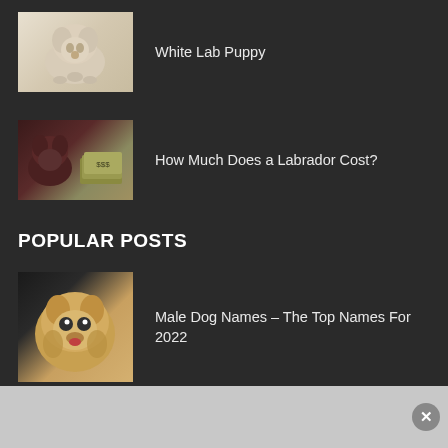White Lab Puppy
How Much Does a Labrador Cost?
POPULAR POSTS
Male Dog Names – The Top Names For 2022
242 Unique Dog Names For Girls and Boys